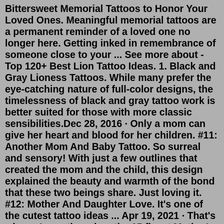Bittersweet Memorial Tattoos to Honor Your Loved Ones. Meaningful memorial tattoos are a permanent reminder of a loved one no longer here. Getting inked in remembrance of someone close to your ... See more about - Top 120+ Best Lion Tattoo Ideas. 1. Black and Gray Lioness Tattoos. While many prefer the eye-catching nature of full-color designs, the timelessness of black and gray tattoo work is better suited for those with more classic sensibilities.Dec 28, 2016 · Only a mom can give her heart and blood for her children. #11: Another Mom And Baby Tattoo. So surreal and sensory! With just a few outlines that created the mom and the child, this design explained the beauty and warmth of the bond that these two beings share. Just loving it. #12: Mother And Daughter Love. It's one of the cutest tattoo ideas ... Apr 19, 2021 · That's why we've gathered up the 15 finest Mother's Days tattoos anywhere. Some, like the powerful image of the baby's footprints, are for moms, while others, including the little tree growing beside the bigger one, can be for daughters. We're